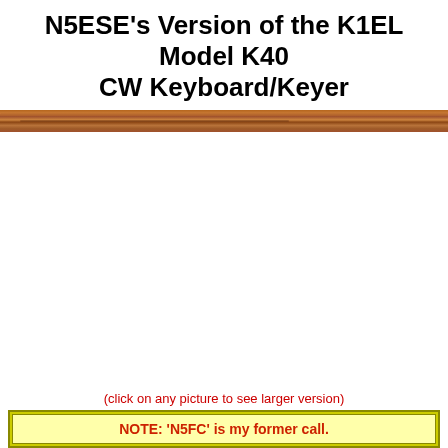N5ESE's Version of the K1EL Model K40 CW Keyboard/Keyer
[Figure (photo): Horizontal wooden bar/dowel photograph used as decorative divider]
(click on any picture to see larger version)
NOTE: 'N5FC' is my former call.